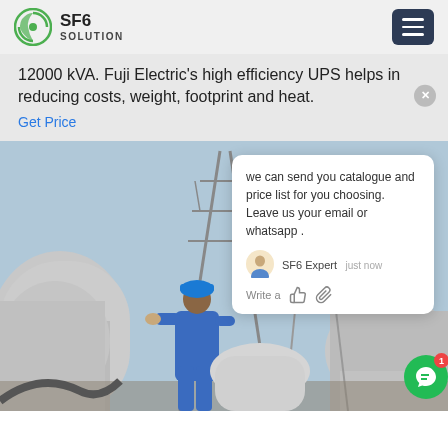SF6 SOLUTION
12000 kVA. Fuji Electric's high efficiency UPS helps in reducing costs, weight, footprint and heat.
Get Price
[Figure (photo): Worker in blue coveralls and hard hat working on large industrial electrical equipment/pipes at a substation with high-voltage towers visible in background]
we can send you catalogue and price list for you choosing. Leave us your email or whatsapp .
SF6 Expert   just now
Write a